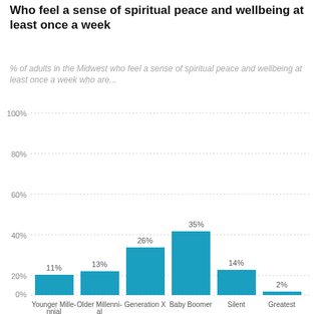Who feel a sense of spiritual peace and wellbeing at least once a week
% of adults in the Midwest who feel a sense of spiritual peace and wellbeing at least once a week who are...
[Figure (bar-chart): Who feel a sense of spiritual peace and wellbeing at least once a week]